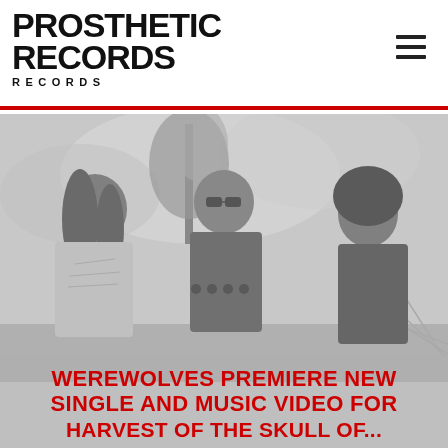PROSTHETIC RECORDS
[Figure (photo): Three band members standing outdoors in front of trees and a cloudy sky, rendered in grayscale. The central figure wears sunglasses and a black t-shirt, the left figure has long dark hair and a white graphic shirt, the right figure wears a dark hooded garment.]
WEREWOLVES PREMIERE NEW SINGLE AND MUSIC VIDEO FOR HARVEST OF THE SKULL OF...